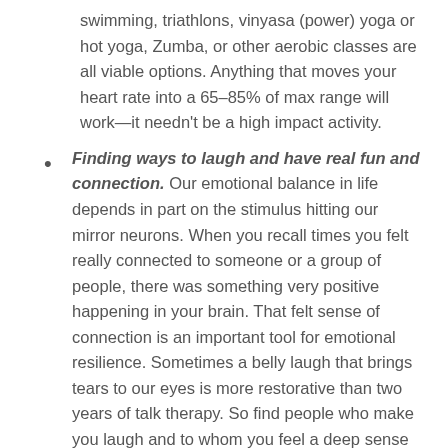swimming, triathlons, vinyasa (power) yoga or hot yoga, Zumba, or other aerobic classes are all viable options. Anything that moves your heart rate into a 65–85% of max range will work—it needn't be a high impact activity.
Finding ways to laugh and have real fun and connection. Our emotional balance in life depends in part on the stimulus hitting our mirror neurons. When you recall times you felt really connected to someone or a group of people, there was something very positive happening in your brain. That felt sense of connection is an important tool for emotional resilience. Sometimes a belly laugh that brings tears to our eyes is more restorative than two years of talk therapy. So find people who make you laugh and to whom you feel a deep sense of